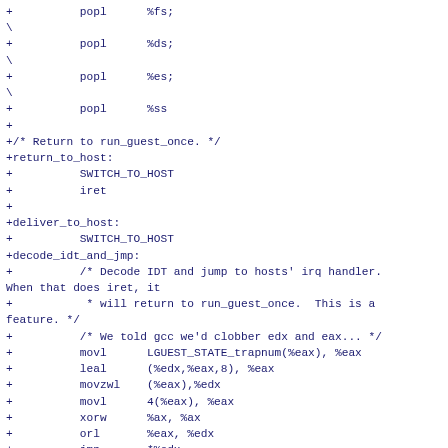+          popl      %fs;\
+          popl      %ds;\
+          popl      %es;\
+          popl      %ss
+
+/* Return to run_guest_once. */
+return_to_host:
+          SWITCH_TO_HOST
+          iret
+
+deliver_to_host:
+          SWITCH_TO_HOST
+decode_idt_and_jmp:
+          /* Decode IDT and jump to hosts' irq handler. When that does iret, it
+           * will return to run_guest_once.  This is a feature. */
+          /* We told gcc we'd clobber edx and eax... */
+          movl      LGUEST_STATE_trapnum(%eax), %eax
+          leal      (%edx,%eax,8), %eax
+          movzwl    (%eax),%edx
+          movl      4(%eax), %eax
+          xorw      %ax, %ax
+          orl       %eax, %edx
+          jmp       *%edx
+
+deliver_to_host_with_errcode:
+          SWITCH_TO_HOST